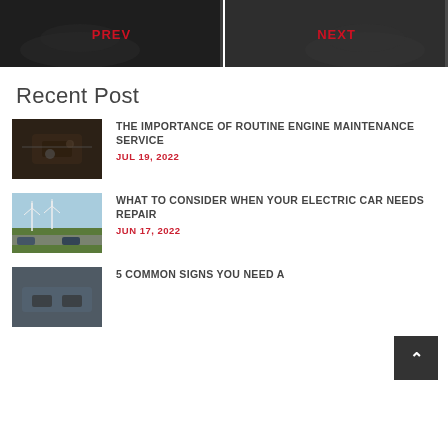[Figure (photo): Navigation bar with PREV and NEXT buttons over dark automotive images]
Recent Post
[Figure (photo): Mechanic working on engine - thumbnail for routine engine maintenance post]
THE IMPORTANCE OF ROUTINE ENGINE MAINTENANCE SERVICE
JUL 19, 2022
[Figure (photo): Electric car charging with wind turbines - thumbnail for electric car repair post]
WHAT TO CONSIDER WHEN YOUR ELECTRIC CAR NEEDS REPAIR
JUN 17, 2022
[Figure (photo): Automotive scene thumbnail - 5 common signs post]
5 COMMON SIGNS YOU NEED A